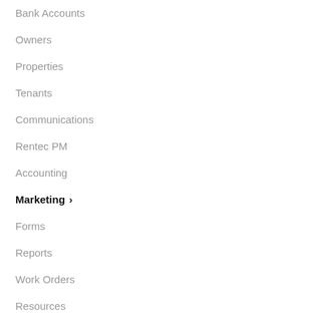Bank Accounts
Owners
Properties
Tenants
Communications
Rentec PM
Accounting
Marketing ›
Forms
Reports
Work Orders
Resources
Trouble Shooting